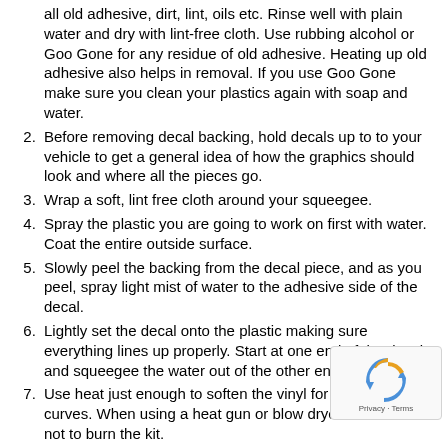(partial/continuation) all old adhesive, dirt, lint, oils etc. Rinse well with plain water and dry with lint-free cloth. Use rubbing alcohol or Goo Gone for any residue of old adhesive. Heating up old adhesive also helps in removal. If you use Goo Gone make sure you clean your plastics again with soap and water.
2. Before removing decal backing, hold decals up to to your vehicle to get a general idea of how the graphics should look and where all the pieces go.
3. Wrap a soft, lint free cloth around your squeegee.
4. Spray the plastic you are going to work on first with water. Coat the entire outside surface.
5. Slowly peel the backing from the decal piece, and as you peel, spray light mist of water to the adhesive side of the decal.
6. Lightly set the decal onto the plastic making sure everything lines up properly. Start at one end of the decal and squeegee the water out of the other end.
7. Use heat just enough to soften the vinyl for intricate curves. When using a heat gun or blow dryer be careful not to burn the kit.
8. Repeat the above with all other pieces.
9. Use the heat gun or blow dryer and lightly heat the whole vehicle to help the vinyl set in form.
10. Let kit dry and set for approximately 24 hours.